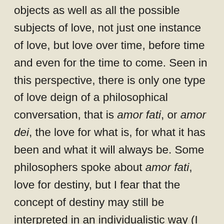objects as well as all the possible subjects of love, not just one instance of love, but love over time, before time and even for the time to come. Seen in this perspective, there is only one type of love deign of a philosophical conversation, that is amor fati, or amor dei, the love for what is, for what it has been and what it will always be. Some philosophers spoke about amor fati, love for destiny, but I fear that the concept of destiny may still be interpreted in an individualistic way (I love my destiny but not that of my neighbors or those of the Guantanamo prisoners). So I prefer to use Spinoza's expression amor dei, love for God, where the term God is another name for the unique, infinite and eternal substance.